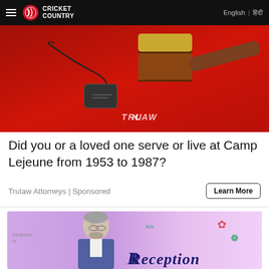Cricket Country | English | हिंदी
[Figure (photo): Red background with a wooden gavel and military dog tags, TRULAW watermark at center bottom — advertisement image for Trulaw Attorneys.]
Did you or a loved one serve or live at Camp Lejeune from 1953 to 1987?
Trulaw Attorneys | Sponsored
[Figure (photo): Photo of a grey-haired man in a suit speaking at an event with a purple/pink backdrop reading 'Reception'.]